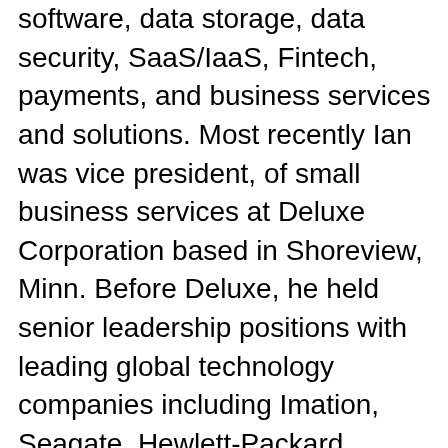software, data storage, data security, SaaS/IaaS, Fintech, payments, and business services and solutions. Most recently Ian was vice president, of small business services at Deluxe Corporation based in Shoreview, Minn. Before Deluxe, he held senior leadership positions with leading global technology companies including Imation, Seagate, Hewlett-Packard, Compaq, and Apple. He is recognized for providing strategic and visionary leadership to transform organizations and deliver impressive financial results. Ian is adept at combining financial pragmatism with innovative product planning and aggressive organizational design to assess and seize new market opportunities. Ian holds a master's degree in business administration from York University Schulich School of Business (Toronto, Ontario) and a bachelor's degree from Brock University in St.